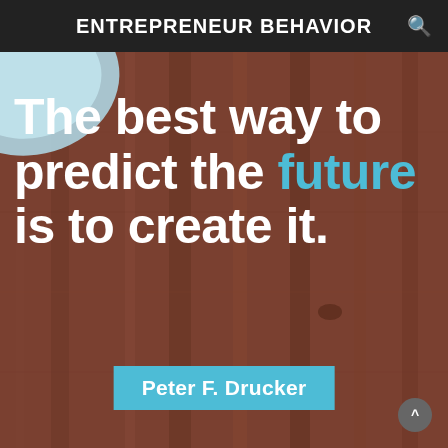ENTREPRENEUR BEHAVIOR
[Figure (photo): Motivational quote image with wooden table background and a light blue plate in the top-left corner. Bold white text reads: 'The best way to predict the future is to create it.' The word 'future' is in light blue. A light blue banner at the bottom reads 'Peter F. Drucker'.]
The best way to predict the future is to create it.
Peter F. Drucker